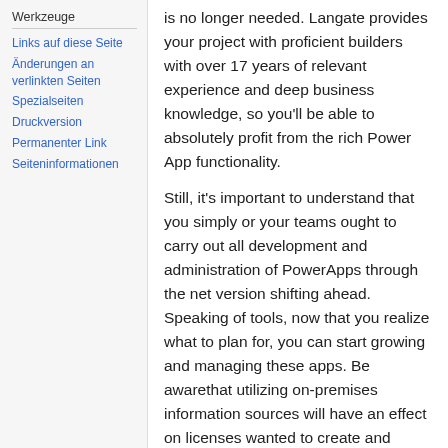Werkzeuge
Links auf diese Seite
Änderungen an verlinkten Seiten
Spezialseiten
Druckversion
Permanenter Link
Seiteninformationen
is no longer needed. Langate provides your project with proficient builders with over 17 years of relevant experience and deep business knowledge, so you'll be able to absolutely profit from the rich Power App functionality.
Still, it's important to understand that you simply or your teams ought to carry out all development and administration of PowerApps through the net version shifting ahead. Speaking of tools, now that you realize what to plan for, you can start growing and managing these apps. Be awarethat utilizing on-premises information sources will have an effect on licenses wanted to create and execute your app. If you choose or needa local information source, you will want PowerApps P1 or P2 license. Be awarethat the selection of information